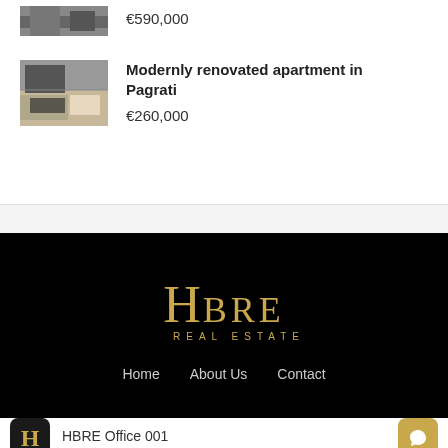€590,000
[Figure (photo): Thumbnail photo of apartment interior - top listing]
Modernly renovated apartment in Pagrati
€260,000
[Figure (photo): Thumbnail photo of modern apartment interior with kitchen and living area]
[Figure (logo): HBRE Real Estate logo with gold H and BRE letters on black background]
Home   About Us   Contact
HBRE Office 001